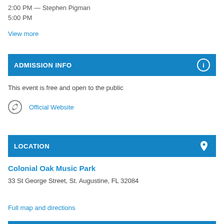2:00 PM — Stephen Pigman
5:00 PM
View more
ADMISSION INFO
This event is free and open to the public
Official Website
LOCATION
Colonial Oak Music Park
33 St George Street, St. Augustine, FL 32084
Full map and directions